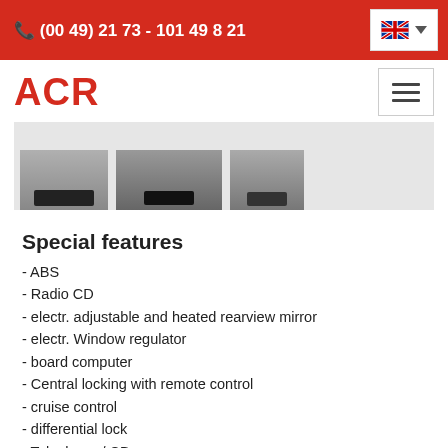📞 (00 49) 21 73 - 101 49 8 21
[Figure (logo): ACR logo in red bold text]
[Figure (photo): Three thumbnail photos of a vehicle, partially visible at the bottom of a light grey strip]
Special features
- ABS
- Radio CD
- electr. adjustable and heated rearview mirror
- electr. Window regulator
- board computer
- Central locking with remote control
- cruise control
- differential lock
- Telephone / CB
- storage box